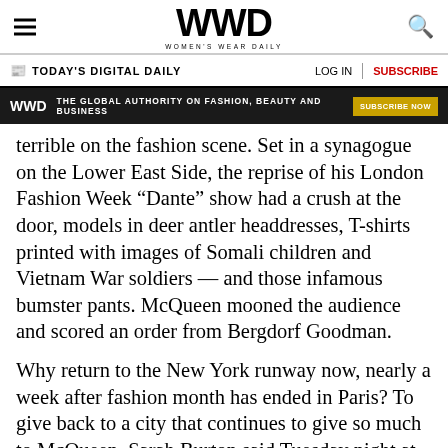WWD — WOMEN'S WEAR DAILY
TODAY'S DIGITAL DAILY | LOG IN | SUBSCRIBE
[Figure (infographic): WWD ad banner: THE GLOBAL AUTHORITY ON FASHION, BEAUTY AND BUSINESS — SUBSCRIBE NOW]
terrible on the fashion scene. Set in a synagogue on the Lower East Side, the reprise of his London Fashion Week “Dante” show had a crush at the door, models in deer antler headdresses, T-shirts printed with images of Somali children and Vietnam War soldiers — and those infamous bumster pants. McQueen mooned the audience and scored an order from Bergdorf Goodman.
Why return to the New York runway now, nearly a week after fashion month has ended in Paris? To give back to a city that continues to give so much to McQueen, Sarah Burton said Tuesday night at